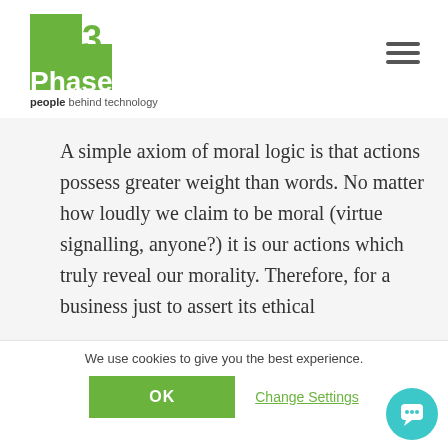[Figure (logo): 3Phase logo — green square with white notch, large '3' in green, 'Phase' in white on the green box, tagline 'people behind technology' below]
A simple axiom of moral logic is that actions possess greater weight than words. No matter how loudly we claim to be moral (virtue signalling, anyone?) it is our actions which truly reveal our morality. Therefore, for a business just to assert its ethical
We use cookies to give you the best experience.
OK
Change Settings